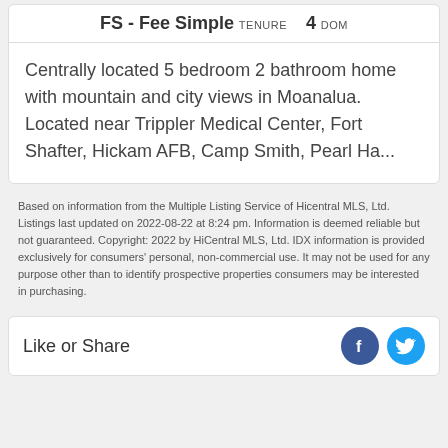FS - Fee Simple TENURE    4 DOM
Centrally located 5 bedroom 2 bathroom home with mountain and city views in Moanalua. Located near Trippler Medical Center, Fort Shafter, Hickam AFB, Camp Smith, Pearl Ha...
Based on information from the Multiple Listing Service of Hicentral MLS, Ltd. Listings last updated on 2022-08-22 at 8:24 pm. Information is deemed reliable but not guaranteed. Copyright: 2022 by HiCentral MLS, Ltd. IDX information is provided exclusively for consumers' personal, non-commercial use. It may not be used for any purpose other than to identify prospective properties consumers may be interested in purchasing.
Like or Share